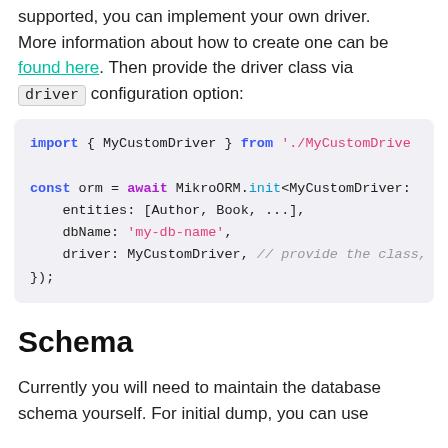If you want to use a database that is not currently supported, you can implement your own driver. More information about how to create one can be found here. Then provide the driver class via driver configuration option:
[Figure (screenshot): Code block showing TypeScript import and MikroORM.init usage with MyCustomDriver]
Schema
Currently you will need to maintain the database schema yourself. For initial dump, you can use